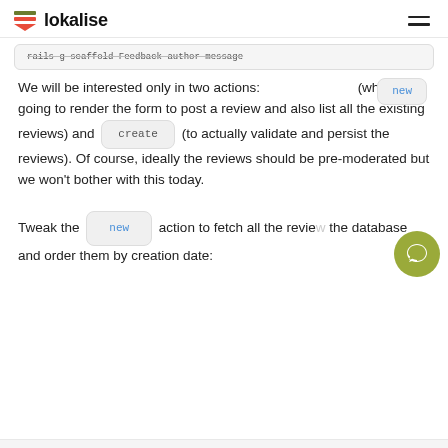lokalise
rails g scaffold Feedback author message
We will be interested only in two actions: new (which is going to render the form to post a review and also list all the existing reviews) and create (to actually validate and persist the reviews). Of course, ideally the reviews should be pre-moderated but we won't bother with this today.
Tweak the new action to fetch all the reviews the database and order them by creation date: